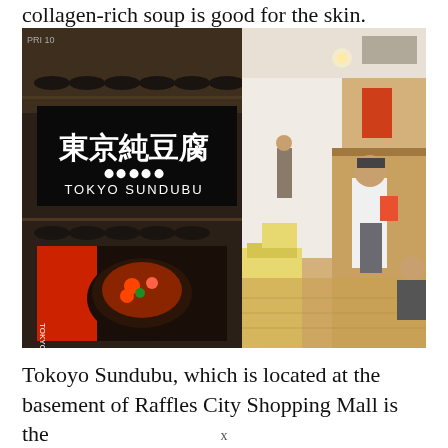collagen-rich soup is good for the skin.
[Figure (photo): Interior photo of Tokyo Sundubu restaurant. On the left is a large display screen showing Chinese characters 東京純豆腐 and 'TOKYO SUNDUBU' below, with a screen showing a hot pot dish. Behind is a wooden shelving unit with black bowls. On the right side is the restaurant dining area with light wood floors, cream-colored chairs, and a staff member in a white shirt and apron holding a menu.]
Tokoyo Sundubu, which is located at the basement of Raffles City Shopping Mall is the
x